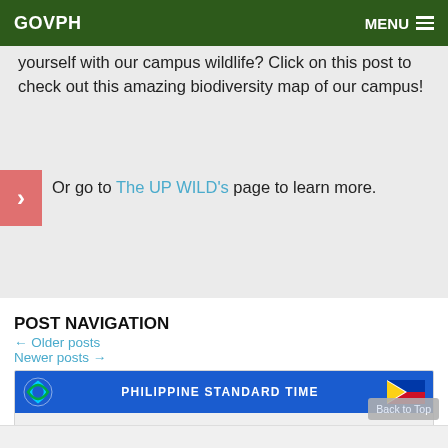GOVPH   MENU
yourself with our campus wildlife? Click on this post to check out this amazing biodiversity map of our campus!
Or go to The UP WILD's page to learn more.
POST NAVIGATION
← Older posts
Newer posts →
[Figure (screenshot): Philippine Standard Time clock widget showing 11:03:24 AM, 02 September 2022 Friday, with GOVPH logo and Philippine flag]
11:03:24 AM
02 September 2022 Friday